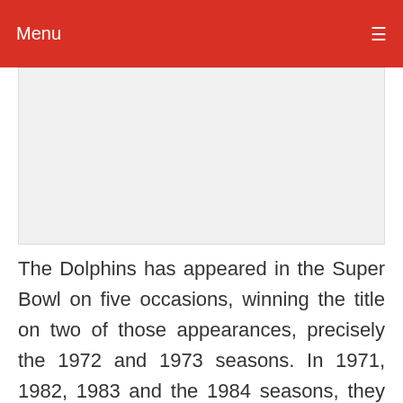Menu ≡
[Figure (other): Advertisement placeholder box]
The Dolphins has appeared in the Super Bowl on five occasions, winning the title on two of those appearances, precisely the 1972 and 1973 seasons. In 1971, 1982, 1983 and the 1984 seasons, they lost the Super Bowl title. Since the 1984 season, the Dolphins have not appeared in the Super Bowl. However, the team have qualified to the playoffs, 23 times, most